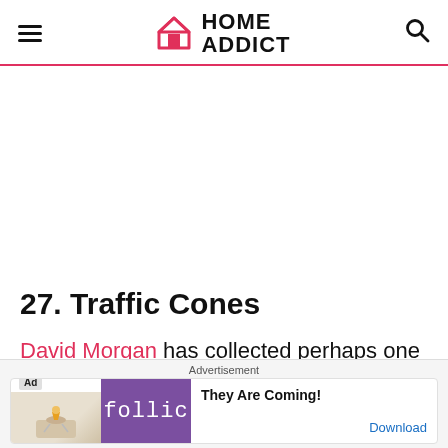HOME ADDICT
27. Traffic Cones
David Morgan has collected perhaps one of
[Figure (other): Advertisement banner with Follic app branding, 'They Are Coming!' tagline and Download button]